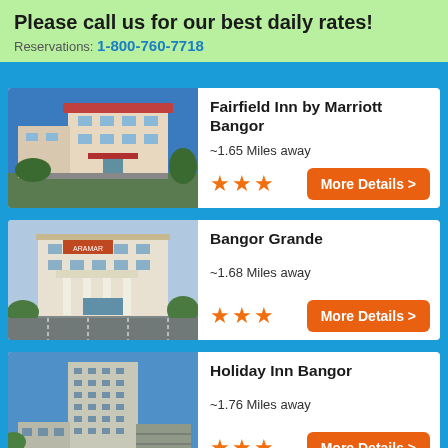Please call us for our best daily rates!
Reservations: 1-800-760-7718
Fairfield Inn by Marriott Bangor
~1.65 Miles away
★★★
More Details >
Bangor Grande
~1.68 Miles away
★★★
More Details >
Holiday Inn Bangor
~1.76 Miles away
★★★
More Details >